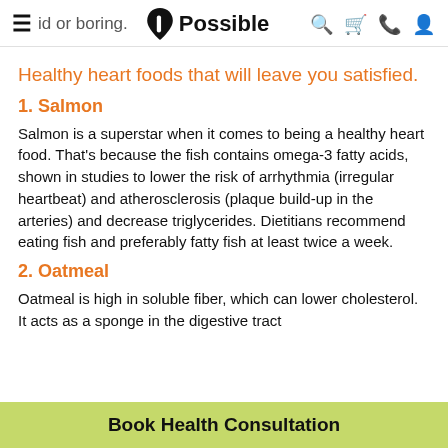id or boring. Possible
Healthy heart foods that will leave you satisfied.
1. Salmon
Salmon is a superstar when it comes to being a healthy heart food. That's because the fish contains omega-3 fatty acids, shown in studies to lower the risk of arrhythmia (irregular heartbeat) and atherosclerosis (plaque build-up in the arteries) and decrease triglycerides. Dietitians recommend eating fish and preferably fatty fish at least twice a week.
2. Oatmeal
Oatmeal is high in soluble fiber, which can lower cholesterol. It acts as a sponge in the digestive tract
Book Health Consultation